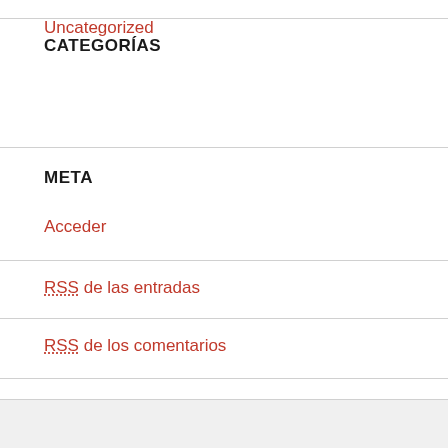CATEGORÍAS
Uncategorized
META
Acceder
RSS de las entradas
RSS de los comentarios
WordPress.org